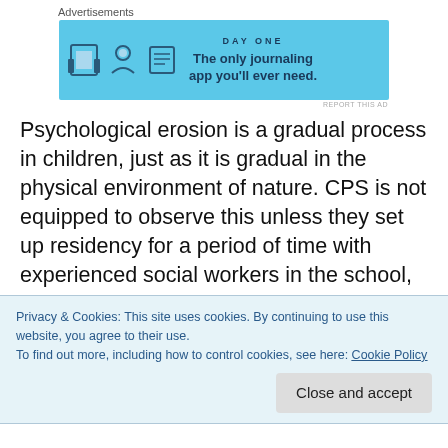[Figure (other): Advertisement banner for Day One journaling app with blue background, icons of a door, person, and notebook, and text 'The only journaling app you'll ever need.']
Psychological erosion is a gradual process in children, just as it is gradual in the physical environment of nature. CPS is not equipped to observe this unless they set up residency for a period of time with experienced social workers in the school, and it is highly unlikely CPS was given an opportunity to observe the punitive methods described in my report while visiting the school. AISD is not capable of
Privacy & Cookies: This site uses cookies. By continuing to use this website, you agree to their use.
To find out more, including how to control cookies, see here: Cookie Policy